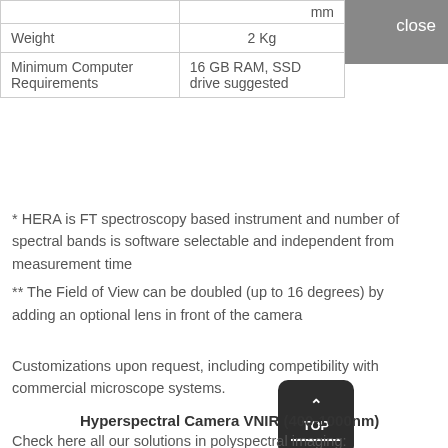|  | mm |
| Weight | 2 Kg |
| Minimum Computer Requirements | 16 GB RAM, SSD drive suggested |
close
* HERA is FT spectroscopy based instrument and number of spectral bands is software selectable and independent from measurement time
** The Field of View can be doubled (up to 16 degrees) by adding an optional lens in front of the camera
Customizations upon request, including competibility with commercial microscope systems.
Hyperspectral Camera VNIR (400-1000nm)
Check here all our solutions in polyspectral imaging: